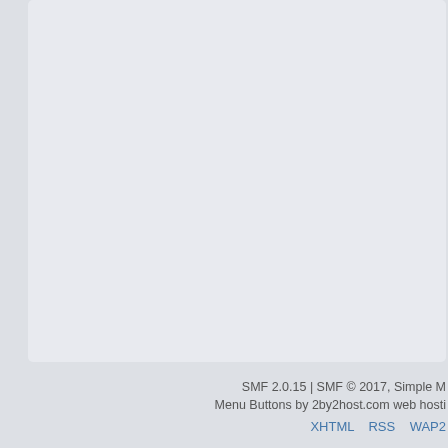board who are professionals like us are doing. I watch A&E, History Channel and other shows that profiles the exploits of notorious crime figures. The best show on TV and AG profiled one of them with a wonderful ending message to boot.
But again thanks for being specific and ad…
Pages: [1] 2
Hudlin Entertainment Forum » Show Bizness » Hudlin TV » BET Life (Moderator: Marve…
SMF 2.0.15 | SMF © 2017, Simple M… Menu Buttons by 2by2host.com web hosti… XHTML RSS WAP2